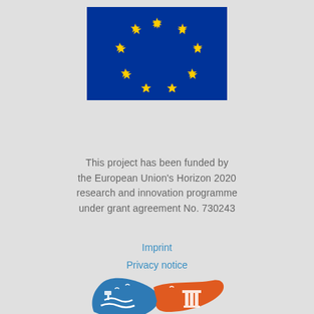[Figure (logo): EU flag — blue rectangle with 12 yellow stars arranged in a circle]
This project has been funded by the European Union's Horizon 2020 research and innovation programme under grant agreement No. 730243
Imprint
Privacy notice
[Figure (logo): Partial view of a fish-shaped logo with blue and orange sections, containing maritime and city imagery]